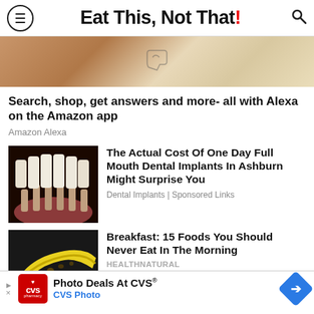Eat This, Not That!
[Figure (photo): Partial photo showing a hand holding a phone with Amazon Alexa interface]
Search, shop, get answers and more- all with Alexa on the Amazon app
Amazon Alexa
[Figure (photo): Dental implant model showing teeth and implant posts on a dark background]
The Actual Cost Of One Day Full Mouth Dental Implants In Ashburn Might Surprise You
Dental Implants | Sponsored Links
[Figure (photo): Overripe bananas with black spots on a dark background]
Breakfast: 15 Foods You Should Never Eat In The Morning
HEALTHNATURAL
Photo Deals At CVS® CVS Photo